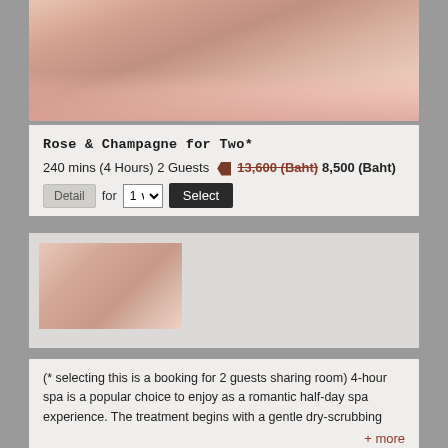[Figure (photo): Woman relaxing in a bathtub filled with pink and white rose petals, viewed from above/behind, spa setting]
Rose & Champagne for Two*
240 mins (4 Hours) 2 Guests  13,600 (Baht) 8,500 (Baht)
Detail  for  1  Select
[Figure (photo): Woman in floral bath smiling, portrait orientation, in detail panel]
(* selecting this is a booking for 2 guests sharing room) 4-hour spa is a popular choice to enjoy as a romantic half-day spa experience. The treatment begins with a gentle dry-scrubbing
+ more